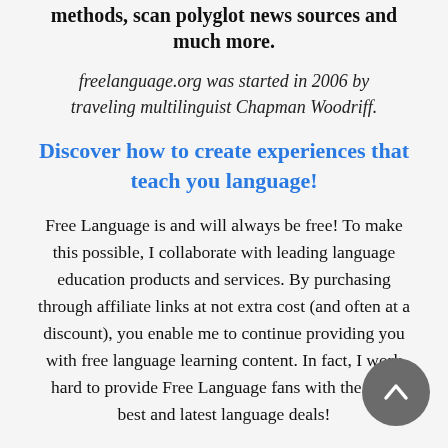methods, scan polyglot news sources and much more.
freelanguage.org was started in 2006 by traveling multilinguist Chapman Woodriff.
Discover how to create experiences that teach you language!
Free Language is and will always be free! To make this possible, I collaborate with leading language education products and services. By purchasing through affiliate links at not extra cost (and often at a discount), you enable me to continue providing you with free language learning content. In fact, I work hard to provide Free Language fans with the very best and latest language deals!
Copyleft 2019